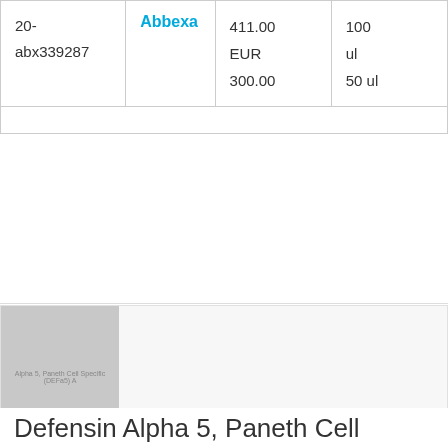| ID | Brand | Price | Size |
| --- | --- | --- | --- |
| 20-abx339287 | Abbexa | 411.00 EUR
300.00 | 100 ul
50 ul |
[Figure (photo): Product image placeholder for Defensin Alpha 5, Paneth Cell Specific (DEFa5) Antibody]
Defensin Alpha 5, Paneth Cell Specific (DEFa5) Antibody
| ID | Brand | Price | Size |
| --- | --- | --- | --- |
|  |  | EUR 425.00
EUR | 100 ug
10 |